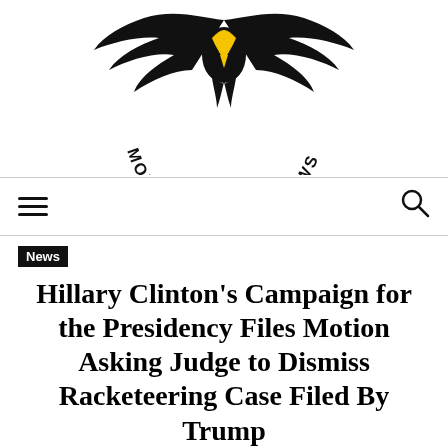[Figure (logo): Morning Pundit News logo — a stylized black eagle/bird with yellow beak and chest, wings spread, with curved text 'MORNING PUNDIT NEWS' below in black]
≡   🔍
News
Hillary Clinton's Campaign for the Presidency Files Motion Asking Judge to Dismiss Racketeering Case Filed By Trump